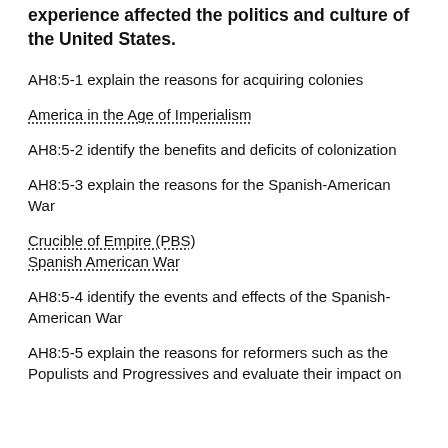experience affected the politics and culture of the United States.
AH8:5-1 explain the reasons for acquiring colonies
America in the Age of Imperialism
AH8:5-2 identify the benefits and deficits of colonization
AH8:5-3 explain the reasons for the Spanish-American War
Crucible of Empire (PBS)
Spanish American War
AH8:5-4 identify the events and effects of the Spanish-American War
AH8:5-5 explain the reasons for reformers such as the Populists and Progressives and evaluate their impact on